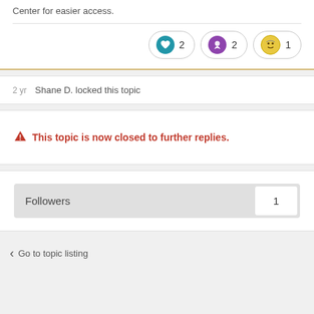Center for easier access.
[Figure (infographic): Three reaction badges: blue heart icon with count 2, purple trophy icon with count 2, yellow face icon with count 1]
2 yr  Shane D. locked this topic
⚠ This topic is now closed to further replies.
Followers  1
Go to topic listing